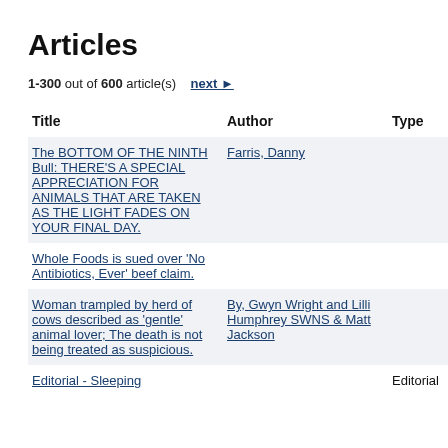Articles
1-300 out of 600 article(s)   next ▶
| Title | Author | Type | D |
| --- | --- | --- | --- |
| The BOTTOM OF THE NINTH Bull: THERE'S A SPECIAL APPRECIATION FOR ANIMALS THAT ARE TAKEN AS THE LIGHT FADES ON YOUR FINAL DAY. | Farris, Danny |  | A |
| Whole Foods is sued over 'No Antibiotics, Ever' beef claim. |  |  | A |
| Woman trampled by herd of cows described as 'gentle' animal lover; The death is not being treated as suspicious. | By, Gwyn Wright and Lilli Humphrey SWNS & Matt Jackson |  | A |
| Editorial - Sleeping ... |  | Editorial | A |